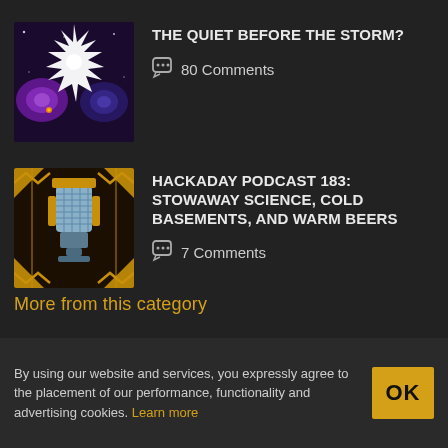THE QUIET BEFORE THE STORM? — 80 Comments
HACKADAY PODCAST 183: STOWAWAY SCIENCE, COLD BASEMENTS, AND WARM BEERS — 7 Comments
More from this category
By using our website and services, you expressly agree to the placement of our performance, functionality and advertising cookies. Learn more